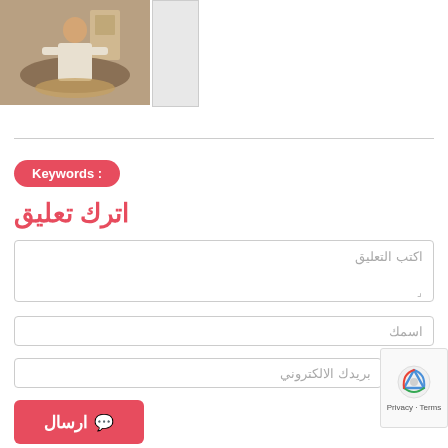[Figure (photo): Photo of a man working with dough/bread in a bakery setting]
[Figure (photo): Small thumbnail image, mostly white/light colored]
Keywords :
اترك تعليق
اكتب التعليق
اسمك
بريدك الالكتروني
Privacy · Terms
ارسال